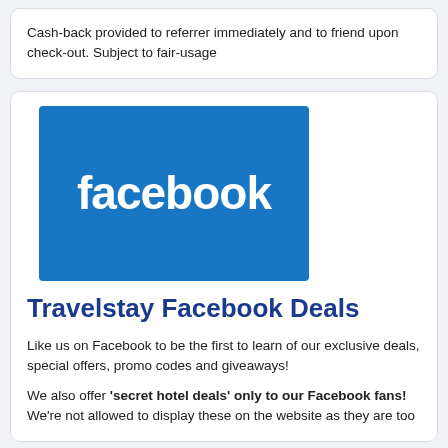Cash-back provided to referrer immediately and to friend upon check-out. Subject to fair-usage
[Figure (logo): Facebook logo: blue rectangle with white 'facebook' text in bold lowercase]
Travelstay Facebook Deals
Like us on Facebook to be the first to learn of our exclusive deals, special offers, promo codes and giveaways!
We also offer 'secret hotel deals' only to our Facebook fans! We're not allowed to display these on the website as they are too